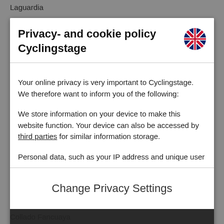Laguardia
Privacy- and cookie policy Cyclingstage
[Figure (illustration): UK flag / Union Jack circular icon in top right of modal header]
Your online privacy is very important to Cyclingstage. We therefore want to inform you of the following:
We store information on your device to make this website function. Your device can also be accessed by third parties for similar information storage.
Personal data, such as your IP address and unique user
Change Privacy Settings
I accept the privacy settings
Collado Fancuaya